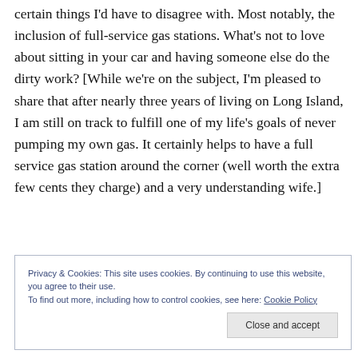certain things I'd have to disagree with. Most notably, the inclusion of full-service gas stations. What's not to love about sitting in your car and having someone else do the dirty work? [While we're on the subject, I'm pleased to share that after nearly three years of living on Long Island, I am still on track to fulfill one of my life's goals of never pumping my own gas. It certainly helps to have a full service gas station around the corner (well worth the extra few cents they charge) and a very understanding wife.]
Privacy & Cookies: This site uses cookies. By continuing to use this website, you agree to their use.
To find out more, including how to control cookies, see here: Cookie Policy